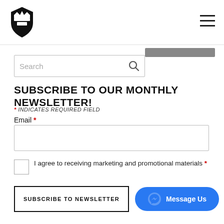[Figure (logo): Shield/crown logo mark in black]
[Figure (other): Hamburger menu icon (three horizontal lines)]
[Figure (other): Gray rectangular bar at top right]
Search
SUBSCRIBE TO OUR MONTHLY NEWSLETTER!
* INDICATES REQUIRED FIELD
Email *
I agree to receiving marketing and promotional materials *
SUBSCRIBE TO NEWSLETTER
[Figure (other): Facebook Messenger Message Us button in blue]